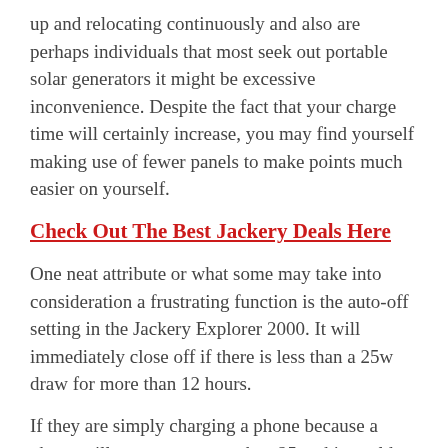up and relocating continuously and also are perhaps individuals that most seek out portable solar generators it might be excessive inconvenience. Despite the fact that your charge time will certainly increase, you may find yourself making use of fewer panels to make points much easier on yourself.
Check Out The Best Jackery Deals Here
One neat attribute or what some may take into consideration a frustrating function is the auto-off setting in the Jackery Explorer 2000. It will immediately close off if there is less than a 25w draw for more than 12 hours.
If they are simply charging a phone because a phone will not attract more than 25w, this could